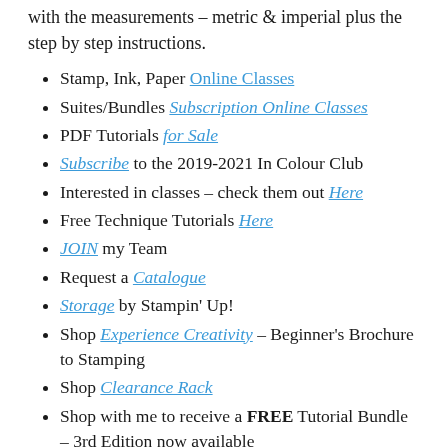with the measurements – metric & imperial plus the step by step instructions.
Stamp, Ink, Paper Online Classes
Suites/Bundles Subscription Online Classes
PDF Tutorials for Sale
Subscribe to the 2019-2021 In Colour Club
Interested in classes – check them out Here
Free Technique Tutorials Here
JOIN my Team
Request a Catalogue
Storage by Stampin' Up!
Shop Experience Creativity – Beginner's Brochure to Stamping
Shop Clearance Rack
Shop with me to receive a FREE Tutorial Bundle – 3rd Edition now available